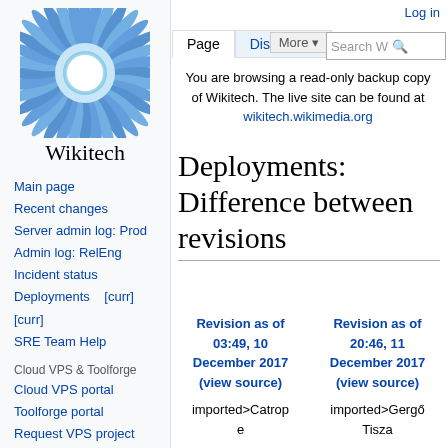[Figure (logo): Wikitech logo: circular sunflower-like design in blue tones with white center, text 'Wikitech' below]
Main page
Recent changes
Server admin log: Prod
Admin log: RelEng
Incident status
Deployments   [curr] [curr]
SRE Team Help
Cloud VPS & Toolforge
Cloud VPS portal
Toolforge portal
Request VPS project
Admin log: Cloud VPS
Log in
You are browsing a read-only backup copy of Wikitech. The live site can be found at wikitech.wikimedia.org
Deployments: Difference between revisions
| Revision as of 03:49, 10 December 2017 (view source) | Revision as of 20:46, 11 December 2017 (view source) |
| --- | --- |
| imported>Catrope | imported>Gergő Tisza |
| (→Week of | (→Near-term: +2 |